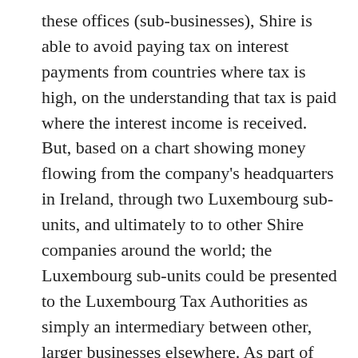these offices (sub-businesses), Shire is able to avoid paying tax on interest payments from countries where tax is high, on the understanding that tax is paid where the interest income is received. But, based on a chart showing money flowing from the company's headquarters in Ireland, through two Luxembourg sub-units, and ultimately to to other Shire companies around the world; the Luxembourg sub-units could be presented to the Luxembourg Tax Authorities as simply an intermediary between other, larger businesses elsewhere. As part of this presentation, tax advisors can draw up an Advance Tax Agreement (sometimes called a 'comfort letter'). There, they argue that the onus of taxation falls not on Luxembourg, but really on the final recipients of the interest income, because the loans are really only flowing through Luxembourg.
To the Luxembourg Tax Authorities this idea of tax